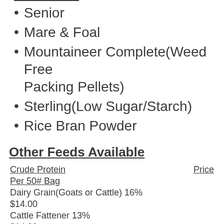Senior
Mare & Foal
Mountaineer Complete(Weed Free Packing Pellets)
Sterling(Low Sugar/Starch)
Rice Bran Powder
Other Feeds Available
| Crude Protein | Price |
| --- | --- |
| Per 50# Bag |  |
| Dairy Grain(Goats or Cattle) 16% |  |
| $14.00 |  |
| Cattle Fattener 13% |  |
| $14.00 |  |
| Sheep & Goat 14% | Call |